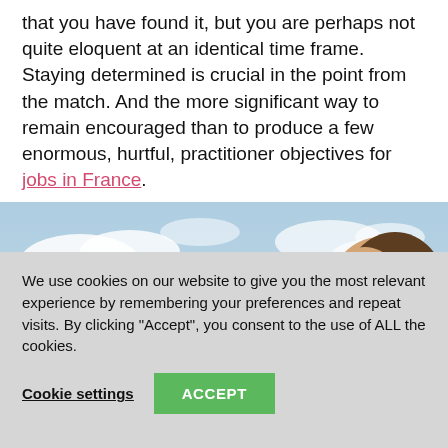that you have found it, but you are perhaps not quite eloquent at an identical time frame. Staying determined is crucial in the point from the match. And the more significant way to remain encouraged than to produce a few enormous, hurtful, practitioner objectives for jobs in France.
[Figure (photo): Photo of a woman wearing a headset with international flags arcing over a globe on a blue sky background]
We use cookies on our website to give you the most relevant experience by remembering your preferences and repeat visits. By clicking “Accept”, you consent to the use of ALL the cookies.
Cookie settings | ACCEPT